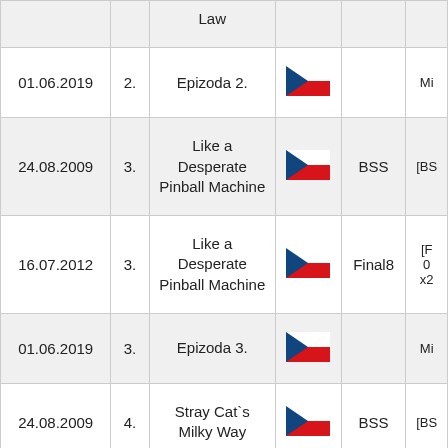| Date | # | Title | Flag | Release | Extra |
| --- | --- | --- | --- | --- | --- |
|  |  | Law |  |  |  |
| 01.06.2019 | 2. | Epizoda 2. | [CZ flag] |  | Mi |
| 24.08.2009 | 3. | Like a Desperate Pinball Machine | [CZ flag] | BSS | [BS |
| 16.07.2012 | 3. | Like a Desperate Pinball Machine | [CZ flag] | Final8 | [F 0 x2 |
| 01.06.2019 | 3. | Epizoda 3. | [CZ flag] |  | Mi |
| 24.08.2009 | 4. | Stray Cat`s Milky Way | [CZ flag] | BSS | [BS |
| 16.07.2012 | 4. | Stray Cat`s Milky Way | [CZ flag] | Final8 | [F |